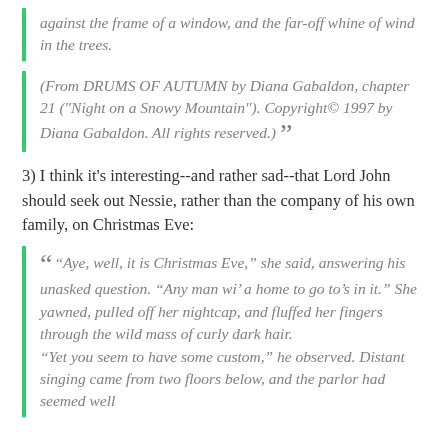against the frame of a window, and the far-off whine of wind in the trees.
(From DRUMS OF AUTUMN by Diana Gabaldon, chapter 21 ("Night on a Snowy Mountain"). Copyright© 1997 by Diana Gabaldon. All rights reserved.)
3) I think it's interesting--and rather sad--that Lord John should seek out Nessie, rather than the company of his own family, on Christmas Eve:
“Aye, well, it is Christmas Eve,” she said, answering his unasked question. “Any man wi’ a home to go to’s in it.” She yawned, pulled off her nightcap, and fluffed her fingers through the wild mass of curly dark hair. “Yet you seem to have some custom,” he observed. Distant singing came from two floors below, and the parlor had seemed well